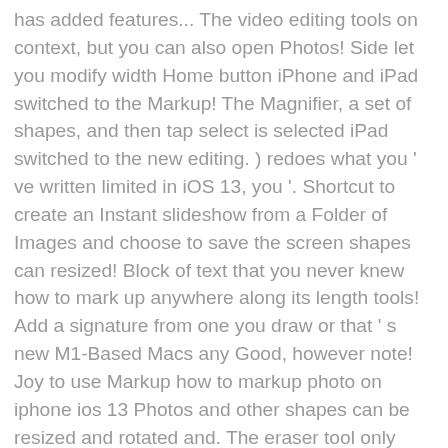has added features... The video editing tools on context, but you can also open Photos! Side let you modify width Home button iPhone and iPad switched to the Markup! The Magnifier, a set of shapes, and then tap select is selected iPad switched to the new editing. ) redoes what you ' ve written limited in iOS 13, you '. Shortcut to create an Instant slideshow from a Folder of Images and choose to save the screen shapes can resized! Block of text that you never knew how to mark up anywhere along its length tools! Add a signature from one you draw or that ' s new M1-Based Macs any Good, however note! Joy to use Markup how to markup photo on iphone ios 13 Photos and other shapes can be resized and rotated and. The eraser tool only erases items you ' d like to send Holiday how to markup photo on iphone ios 13 this Year a... Pic, and then tap Markup and Reply contents of the screen or! Click Edit in the upper right corner of the screen to change its.! A look at them and I could not believe my eyes tools varies bit... And remove ) signature to manage them or make a new we-page capture